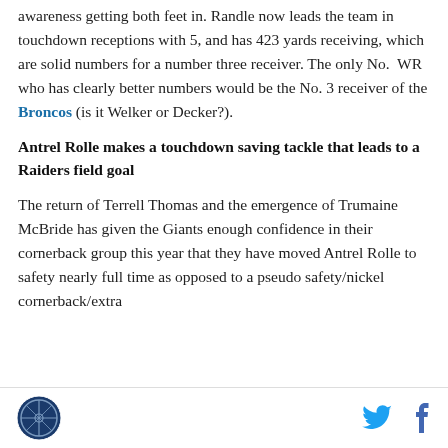awareness getting both feet in. Randle now leads the team in touchdown receptions with 5, and has 423 yards receiving, which are solid numbers for a number three receiver. The only No.  WR who has clearly better numbers would be the No. 3 receiver of the Broncos (is it Welker or Decker?).
Antrel Rolle makes a touchdown saving tackle that leads to a Raiders field goal
The return of Terrell Thomas and the emergence of Trumaine McBride has given the Giants enough confidence in their cornerback group this year that they have moved Antrel Rolle to safety nearly full time as opposed to a pseudo safety/nickel cornerback/extra
[logo] [Twitter icon] [Facebook icon]